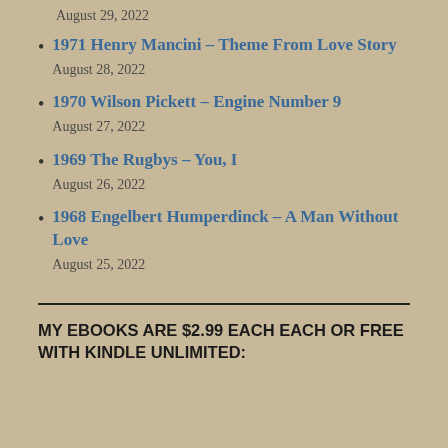August 29, 2022
1971 Henry Mancini – Theme From Love Story
August 28, 2022
1970 Wilson Pickett – Engine Number 9
August 27, 2022
1969 The Rugbys – You, I
August 26, 2022
1968 Engelbert Humperdinck – A Man Without Love
August 25, 2022
MY EBOOKS ARE $2.99 EACH EACH OR FREE WITH KINDLE UNLIMITED: